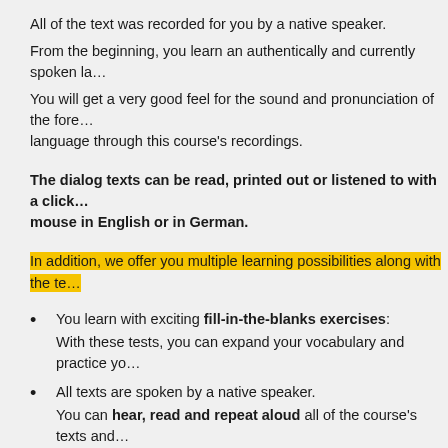All of the text was recorded for you by a native speaker.
From the beginning, you learn an authentically and currently spoken la…
You will get a very good feel for the sound and pronunciation of the fore… language through this course's recordings.
The dialog texts can be read, printed out or listened to with a click… mouse in English or in German.
In addition, we offer you multiple learning possibilities along with the te…
You learn with exciting fill-in-the-blanks exercises: With these tests, you can expand your vocabulary and practice yo…
All texts are spoken by a native speaker. You can hear, read and repeat aloud all of the course's texts and…
You learn how to write correctly: You can also use course's dialogs as dictation…